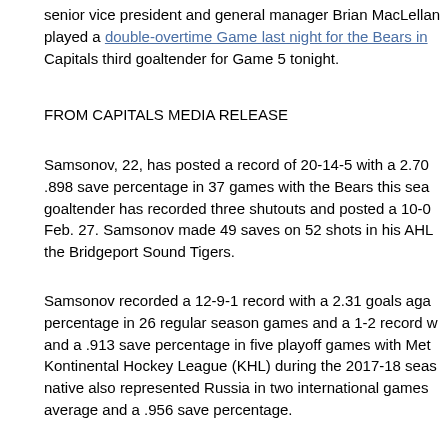senior vice president and general manager Brian MacLellan played a double-overtime Game last night for the Bears in Capitals third goaltender for Game 5 tonight.
FROM CAPITALS MEDIA RELEASE
Samsonov, 22, has posted a record of 20-14-5 with a 2.70 .898 save percentage in 37 games with the Bears this sea goaltender has recorded three shutouts and posted a 10-0 Feb. 27. Samsonov made 49 saves on 52 shots in his AHL the Bridgeport Sound Tigers.
Samsonov recorded a 12-9-1 record with a 2.31 goals aga percentage in 26 regular season games and a 1-2 record w and a .913 save percentage in five playoff games with Met Kontinental Hockey League (KHL) during the 2017-18 seas native also represented Russia in two international games average and a .956 save percentage.